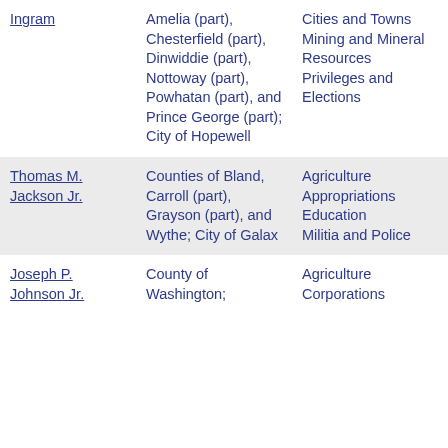| Ingram | Amelia (part), Chesterfield (part), Dinwiddie (part), Nottoway (part), Powhatan (part), and Prince George (part); City of Hopewell | Cities and Towns
Mining and Mineral Resources
Privileges and Elections |
| Thomas M. Jackson Jr. | Counties of Bland, Carroll (part), Grayson (part), and Wythe; City of Galax | Agriculture
Appropriations
Education
Militia and Police |
| Joseph P. Johnson Jr. | County of Washington; | Agriculture
Corporations |